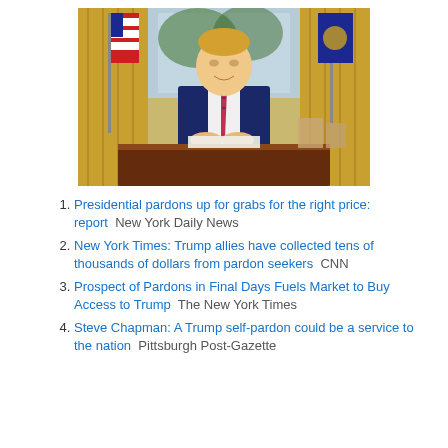[Figure (photo): A man in a dark blue suit sitting at the Oval Office desk with American flags and gold curtains in the background]
Presidential pardons up for grabs for the right price: report  New York Daily News
New York Times: Trump allies have collected tens of thousands of dollars from pardon seekers  CNN
Prospect of Pardons in Final Days Fuels Market to Buy Access to Trump  The New York Times
Steve Chapman: A Trump self-pardon could be a service to the nation  Pittsburgh Post-Gazette